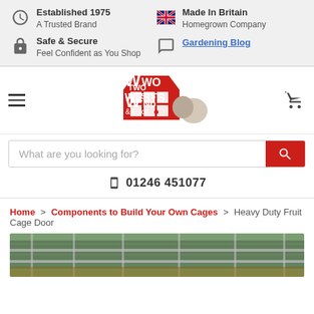Established 1975 | A Trusted Brand | Made In Britain | Homegrown Company | Safe & Secure | Feel Confident as You Shop | Gardening Blog
[Figure (logo): Two Wests & Elliott logo with red house shape and two dogs]
What are you looking for?
01246 451077
Home > Components to Build Your Own Cages > Heavy Duty Fruit Cage Door
[Figure (photo): Partial product photo of a heavy duty fruit cage door with metal mesh fencing in a garden setting]